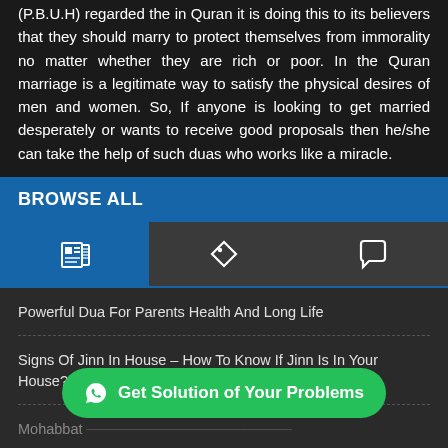(P.B.U.H) regarded the in Quran it is doing this to its believers that they should marry to protect themselves from immorality no matter whether they are rich or poor. In the Quran marriage is a legitimate way to satisfy the physical desires of men and women. So, If anyone is looking to get married desperately or wants to receive good proposals then he/she can take the help of such duas who works like a miracle.
BROWSE ALL
[Figure (screenshot): Tab bar with three icon tabs: a newspaper/article icon (active, blue background), a tag/label icon, and a speech bubble/comment icon, on dark grey background]
Powerful Dua For Parents Health And Long Life
Signs Of Jinn In House – How To Know If Jinn Is In Your House?
Mohabbat [partially visible text]
Can I Make [partially obscured] To Get My Love Back
Get Solution of Your Problems